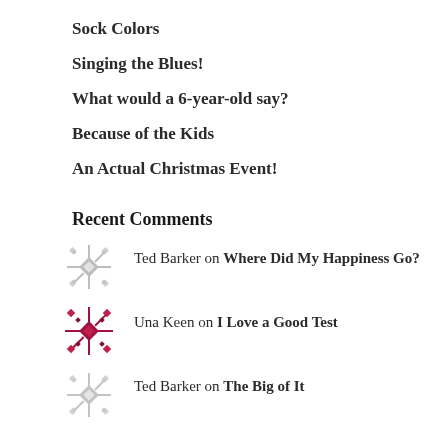Sock Colors
Singing the Blues!
What would a 6-year-old say?
Because of the Kids
An Actual Christmas Event!
Recent Comments
Ted Barker on Where Did My Happiness Go?
Una Keen on I Love a Good Test
Ted Barker on The Big of It